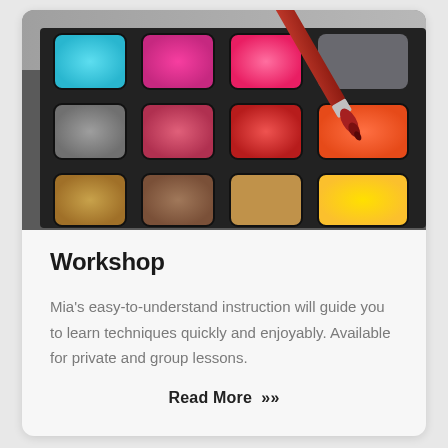[Figure (photo): Close-up photo of a colorful art paint palette with multiple pigment squares in colors including cyan, magenta, pink, gray, red, orange, yellow, gold/tan. A red paintbrush is resting diagonally across the palette.]
Workshop
Mia's easy-to-understand instruction will guide you to learn techniques quickly and enjoyably.  Available for private and group lessons.
Read More  »